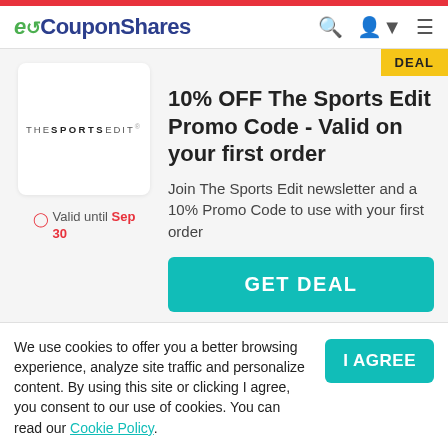eCouponShares
[Figure (logo): THE SPORTS EDIT store logo in a white rounded box]
Valid until Sep 30
10% OFF The Sports Edit Promo Code - Valid on your first order
Join The Sports Edit newsletter and a 10% Promo Code to use with your first order
GET DEAL
The Sports Edit • Sport, Fitness & Outdoors
We use cookies to offer you a better browsing experience, analyze site traffic and personalize content. By using this site or clicking I agree, you consent to our use of cookies. You can read our Cookie Policy.